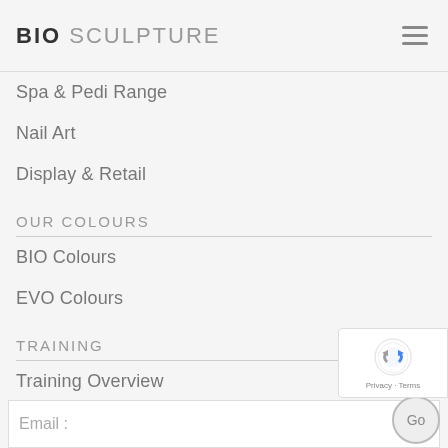BIO SCULPTURE
Spa & Pedi Range
Nail Art
Display & Retail
OUR COLOURS
BIO Colours
EVO Colours
TRAINING
Training Overview
GET IN TOUCH
Sign up to our newsletter
Email :